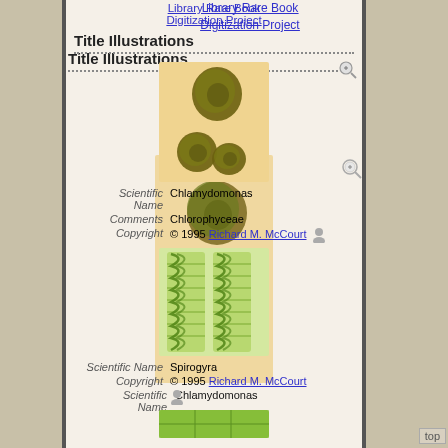Library Rare Book Digitization Project
Title Illustrations
[Figure (photo): Microscope image of Chlamydomonas algae cells (round green-brown cells) on a light orange/tan background]
| Scientific Name | Chlamydomonas |
| Comments | Chlorophyceae |
| Copyright | © 1995 Richard M. McCourt |
[Figure (photo): Microscope image of Spirogyra algae showing elongated filaments with spiral chloroplasts in bright green]
| Scientific Name | Spirogyra |
| Copyright | © 1995 Richard M. McCourt |
[Figure (photo): Partial microscope image at bottom of page showing green algae]